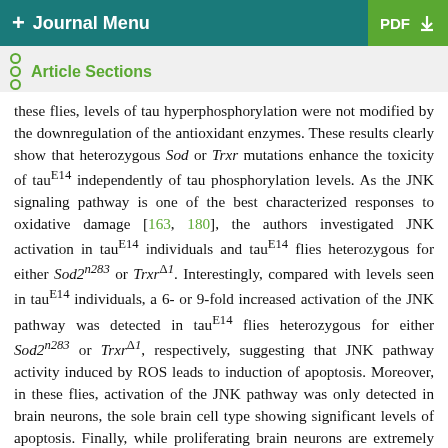+ Journal Menu | PDF
Article Sections
these flies, levels of tau hyperphosphorylation were not modified by the downregulation of the antioxidant enzymes. These results clearly show that heterozygous Sod or Trxr mutations enhance the toxicity of tau^E14 independently of tau phosphorylation levels. As the JNK signaling pathway is one of the best characterized responses to oxidative damage [163, 180], the authors investigated JNK activation in tau^E14 individuals and tau^E14 flies heterozygous for either Sod2^n283 or Trxr^Δ1. Interestingly, compared with levels seen in tau^E14 individuals, a 6- or 9-fold increased activation of the JNK pathway was detected in tau^E14 flies heterozygous for either Sod2^n283 or Trxr^Δ1, respectively, suggesting that JNK pathway activity induced by ROS leads to induction of apoptosis. Moreover, in these flies, activation of the JNK pathway was only detected in brain neurons, the sole brain cell type showing significant levels of apoptosis. Finally, while proliferating brain neurons are extremely uncommon in adult wild-type flies, approximately 40